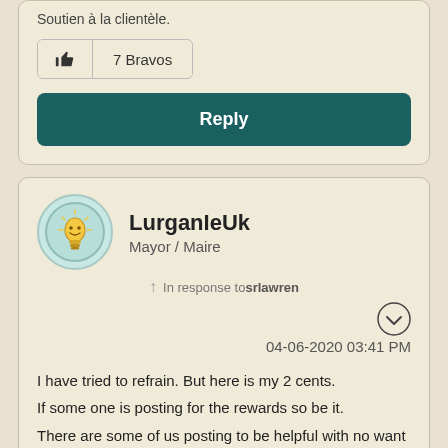Soutien à la clientèle.
7 Bravos
Reply
LurganIeUk
Mayor / Maire
In response to srlawren
04-06-2020 03:41 PM
I have tried to refrain. But here is my 2 cents.
If some one is posting for the rewards so be it.
There are some of us posting to be helpful with no want of a